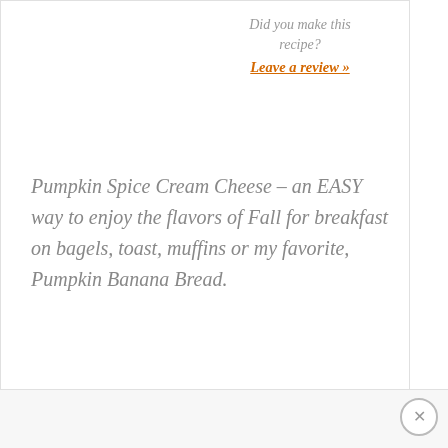Did you make this recipe?
Leave a review »
Pumpkin Spice Cream Cheese – an EASY way to enjoy the flavors of Fall for breakfast on bagels, toast, muffins or my favorite, Pumpkin Banana Bread.